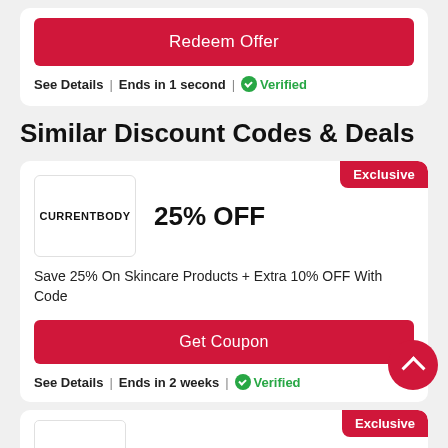Redeem Offer
See Details | Ends in 1 second | ✓Verified
Similar Discount Codes & Deals
[Figure (logo): CurrentBody logo in a white box]
25% OFF
Save 25% On Skincare Products + Extra 10% OFF With Code
Get Coupon
See Details | Ends in 2 weeks | ✓Verified
[Figure (other): Exclusive badge on bottom partial card]